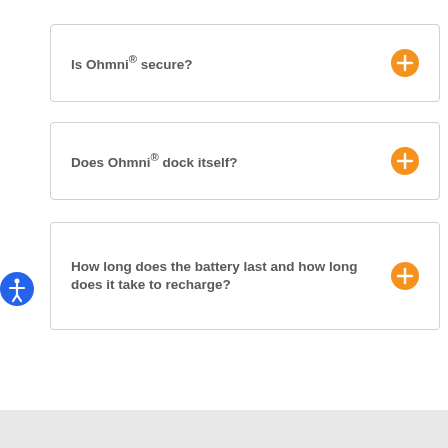Is Ohmni® secure?
Does Ohmni® dock itself?
How long does the battery last and how long does it take to recharge?